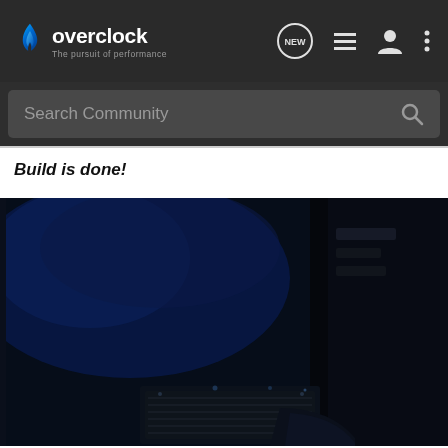overclock - The pursuit of performance
Search Community
Build is done!
[Figure (photo): Dark photo of a computer case interior with blue lighting, showing what appears to be PC components inside a black case]